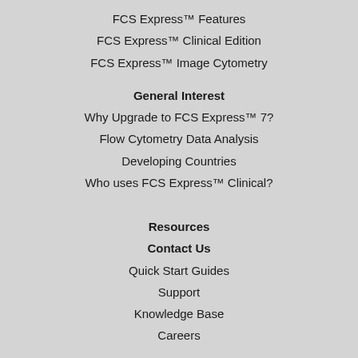FCS Express™ Features
FCS Express™ Clinical Edition
FCS Express™ Image Cytometry
General Interest
Why Upgrade to FCS Express™ 7?
Flow Cytometry Data Analysis
Developing Countries
Who uses FCS Express™ Clinical?
Resources
Contact Us
Quick Start Guides
Support
Knowledge Base
Careers